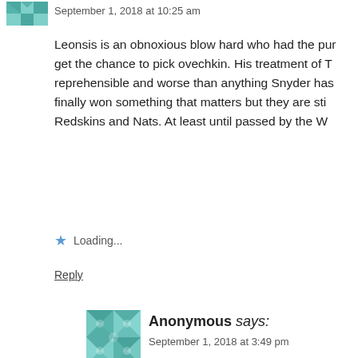September 1, 2018 at 10:25 am
Leonsis is an obnoxious blow hard who had the pur... get the chance to pick ovechkin. His treatment of T... reprehensible and worse than anything Snyder has... finally won something that matters but they are sti... Redskins and Nats. At least until passed by the W...
Loading...
Reply
Anonymous says:
September 1, 2018 at 3:49 pm
You are so full of shite. Grow up!
Loading...
Reply